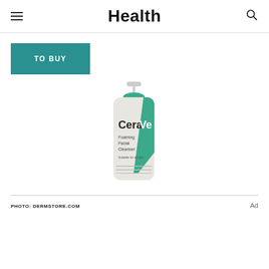Health
TO BUY
[Figure (photo): CeraVe Foaming Facial Cleanser pump bottle with green cap on white background]
PHOTO: DERMSTORE.COM
Ad